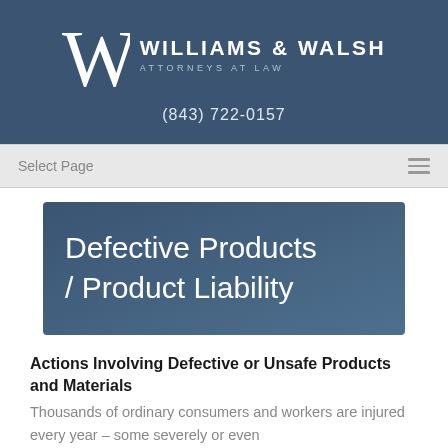[Figure (logo): Williams & Walsh Attorneys at Law logo with stylized W monogram on dark blue background]
(843) 722-0157
Select Page
Defective Products / Product Liability
Actions Involving Defective or Unsafe Products and Materials
Thousands of ordinary consumers and workers are injured every year – some severely or even